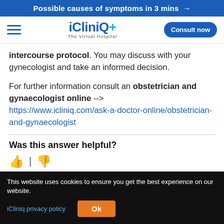Possible causes of symptoms in 3 mins →
[Figure (logo): iCliniq+ The Virtual Hospital logo with hamburger menu and Consult now button]
intercourse protocol. You may discuss with your gynecologist and take an informed decision.
For further information consult an obstetrician and gynaecologist online --> https://www.icliniq.com/ask-a-doctor-online/obstetrician-and-gynaecologist
Was this answer helpful?
Same symptoms doesn't mean you have the
This website uses cookies to ensure you get the best experience on our website.
iCliniq privacy policy  Ok